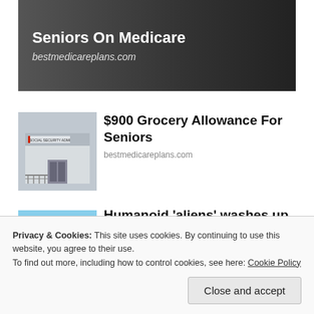[Figure (photo): Ad banner with dark background showing text about Seniors On Medicare and bestmedicareplans.com]
[Figure (photo): Social Security Administration building exterior photo]
$900 Grocery Allowance For Seniors
bestmedicareplans.com
[Figure (photo): Beach scene with waves and sandy shore]
Humanoid 'aliens' washes up on Australian beaches -...
Washington Examiner
Privacy & Cookies: This site uses cookies. By continuing to use this website, you agree to their use.
To find out more, including how to control cookies, see here: Cookie Policy
Close and accept